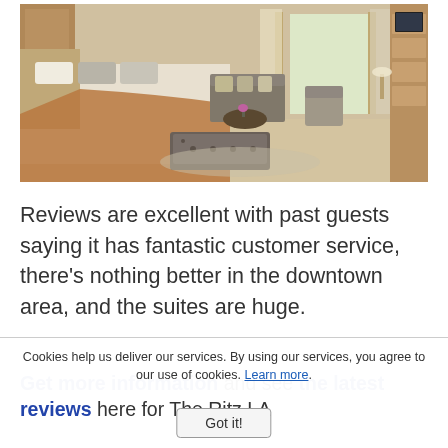[Figure (photo): Interior photo of a luxury hotel suite featuring a large bed with brown throw blanket, tufted leather bench at foot of bed, sitting area with sofa and armchairs, wooden cabinetry with TV, and large windows with curtains]
Reviews are excellent with past guests saying it has fantastic customer service, there's nothing better in the downtown area, and the suites are huge.
Get more information and see the latest reviews here for The Ritz LA
Cookies help us deliver our services. By using our services, you agree to our use of cookies. Learn more.
Got it!